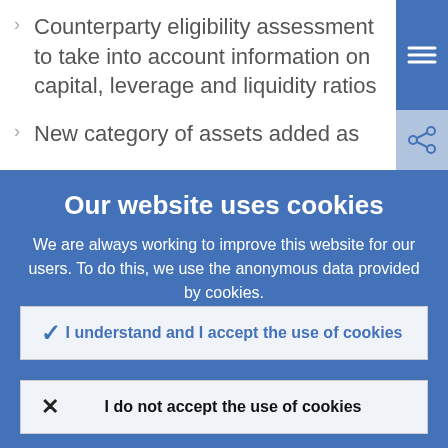Counterparty eligibility assessment to take into account information on capital, leverage and liquidity ratios
New category of assets added as
Our website uses cookies
We are always working to improve this website for our users. To do this, we use the anonymous data provided by cookies.
Learn more about how we use cookies
I understand and I accept the use of cookies
I do not accept the use of cookies